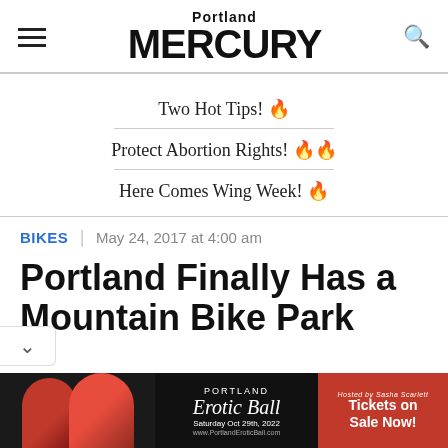Portland MERCURY
Two Hot Tips! 🔥
Protect Abortion Rights! 🔥🔥
Here Comes Wing Week! 🔥
BIKES | May 24, 2017 at 4:00 am
Portland Finally Has a Mountain Bike Park
[Figure (photo): Portland Erotic Ball advertisement banner at bottom of page]